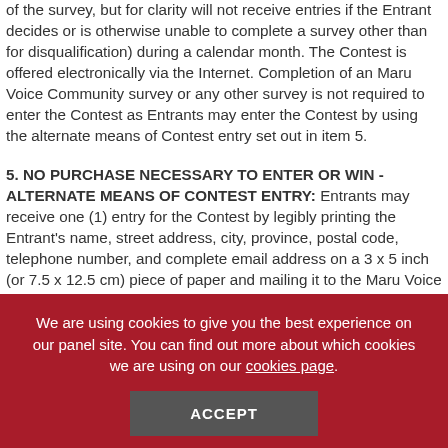of the survey, but for clarity will not receive entries if the Entrant decides or is otherwise unable to complete a survey other than for disqualification) during a calendar month. The Contest is offered electronically via the Internet. Completion of an Maru Voice Community survey or any other survey is not required to enter the Contest as Entrants may enter the Contest by using the alternate means of Contest entry set out in item 5.
5. NO PURCHASE NECESSARY TO ENTER OR WIN - ALTERNATE MEANS OF CONTEST ENTRY:
Entrants may receive one (1) entry for the Contest by legibly printing the Entrant's name, street address, city, province, postal code, telephone number, and complete email address on a 3 x 5 inch (or 7.5 x 12.5 cm) piece of paper and mailing it to the Maru Voice Recruit
We are using cookies to give you the best experience on our panel site. You can find out more about which cookies we are using on our cookies page.